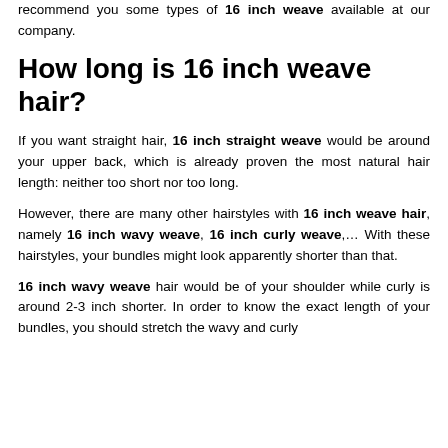recommend you some types of 16 inch weave available at our company.
How long is 16 inch weave hair?
If you want straight hair, 16 inch straight weave would be around your upper back, which is already proven the most natural hair length: neither too short nor too long.
However, there are many other hairstyles with 16 inch weave hair, namely 16 inch wavy weave, 16 inch curly weave,… With these hairstyles, your bundles might look apparently shorter than that.
16 inch wavy weave hair would be of your shoulder while curly is around 2-3 inch shorter. In order to know the exact length of your bundles, you should stretch the wavy and curly